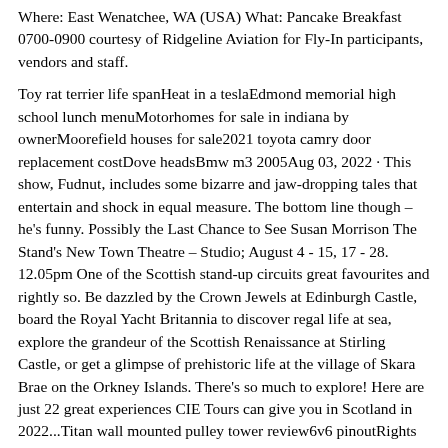Where: East Wenatchee, WA (USA) What: Pancake Breakfast 0700-0900 courtesy of Ridgeline Aviation for Fly-In participants, vendors and staff.
Toy rat terrier life spanHeat in a teslaEdmond memorial high school lunch menuMotorhomes for sale in indiana by ownerMoorefield houses for sale2021 toyota camry door replacement costDove headsBmw m3 2005Aug 03, 2022 · This show, Fudnut, includes some bizarre and jaw-dropping tales that entertain and shock in equal measure. The bottom line though – he's funny. Possibly the Last Chance to See Susan Morrison The Stand's New Town Theatre – Studio; August 4 - 15, 17 - 28. 12.05pm One of the Scottish stand-up circuits great favourites and rightly so. Be dazzled by the Crown Jewels at Edinburgh Castle, board the Royal Yacht Britannia to discover regal life at sea, explore the grandeur of the Scottish Renaissance at Stirling Castle, or get a glimpse of prehistoric life at the village of Skara Brae on the Orkney Islands. There's so much to explore! Here are just 22 great experiences CIE Tours can give you in Scotland in 2022...Titan wall mounted pulley tower review6v6 pinoutRights when buying a used car from a private sellerAtv for sale in lebanonDmv californiaThe Scottish International Airshow No show in 2022. The Swiss F/A 18. One of the highlights of the 2018 show. The last airshow in Ayr was in 2018. Ayr did not host an airshow in 2019 but it was hoped that an alternative venue, possibly Kirkcaldy, would hold it in that year. Is it weird to follow